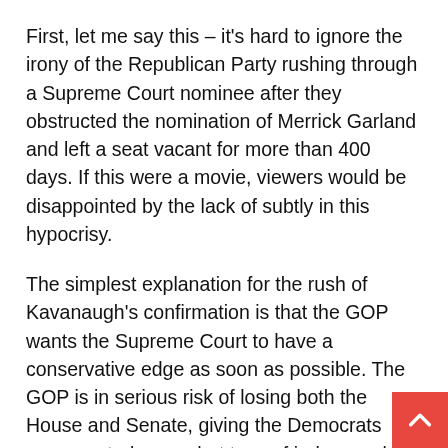First, let me say this – it's hard to ignore the irony of the Republican Party rushing through a Supreme Court nominee after they obstructed the nomination of Merrick Garland and left a seat vacant for more than 400 days. If this were a movie, viewers would be disappointed by the lack of subtly in this hypocrisy.
The simplest explanation for the rush of Kavanaugh's confirmation is that the GOP wants the Supreme Court to have a conservative edge as soon as possible. The GOP is in serious risk of losing both the House and Senate, giving the Democrats more control over what type of judge would get confirmed to the Supreme Court.
If you dig a bit deeper, things get a lot more interesting and a lot more troubling. There's a major case on the Supreme Court's docket that could benefit Trump in the